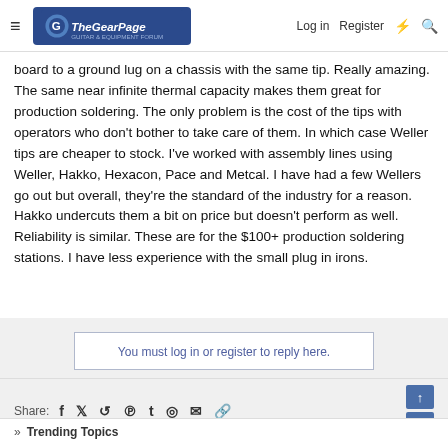The Gear Page — Log in | Register
board to a ground lug on a chassis with the same tip. Really amazing. The same near infinite thermal capacity makes them great for production soldering. The only problem is the cost of the tips with operators who don't bother to take care of them. In which case Weller tips are cheaper to stock. I've worked with assembly lines using Weller, Hakko, Hexacon, Pace and Metcal. I have had a few Wellers go out but overall, they're the standard of the industry for a reason. Hakko undercuts them a bit on price but doesn't perform as well. Reliability is similar. These are for the $100+ production soldering stations. I have less experience with the small plug in irons.
You must log in or register to reply here.
Share:
» Trending Topics